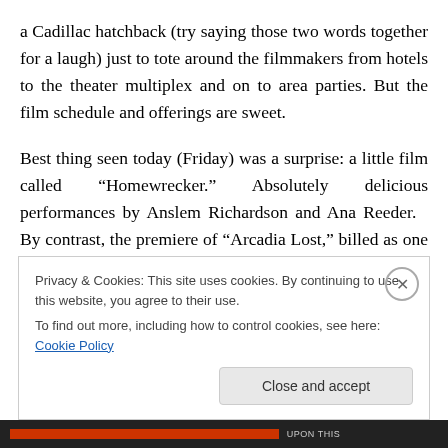a Cadillac hatchback (try saying those two words together for a laugh) just to tote around the filmmakers from hotels to the theater multiplex and on to area parties. But the film schedule and offerings are sweet.
Best thing seen today (Friday) was a surprise: a little film called “Homewrecker.” Absolutely delicious performances by Anslem Richardson and Ana Reeder.   By contrast, the premiere of “Arcadia Lost,” billed as one of those to beat in the competition, left this viewer somewhat confounded by its disconnectedness.  If it was magical realism, then its
Privacy & Cookies: This site uses cookies. By continuing to use this website, you agree to their use.
To find out more, including how to control cookies, see here: Cookie Policy
Close and accept